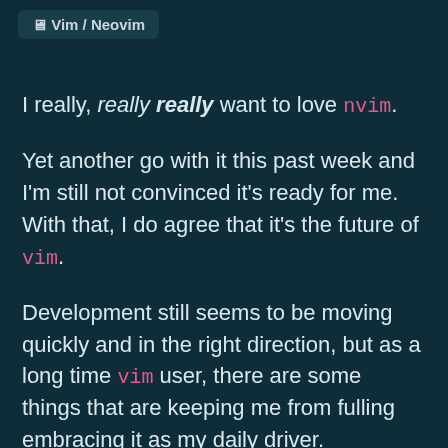Vim / Neovim
I really, really really want to love nvim.
Yet another go with it this past week and I'm still not convinced it's ready for me. With that, I do agree that it's the future of vim.
Development still seems to be moving quickly and in the right direction, but as a long time vim user, there are some things that are keeping me from fulling embracing it as my daily driver.
I'm fully aware that a lot of this is fueled by